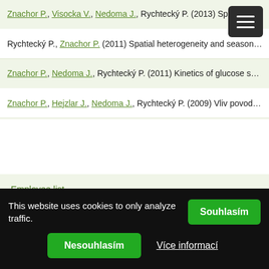Znachor P., Visocka V., Nedoma J., Rychtecký P. (2013) Spatial h…
Rychtecký P., Znachor P. (2011) Spatial heterogeneity and season…
Znachor P., Nedoma J., Rychtecký P. (2011) Kinetics of glucose s…
Znachor P., Hejzlar J., Nedoma J., Rychtecký P. (2009) Vliv povod…
Employee list
Institute of Entomology
Institute of Hydrobiology
Institute of Parasitology
This website uses cookies to only analyze traffic.
Souhlasím
Nesouhlasím
Více informací